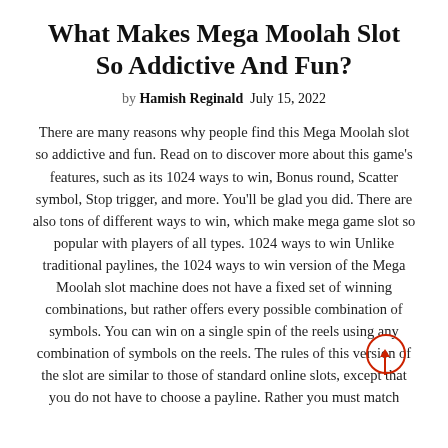What Makes Mega Moolah Slot So Addictive And Fun?
by Hamish Reginald  July 15, 2022
There are many reasons why people find this Mega Moolah slot so addictive and fun. Read on to discover more about this game's features, such as its 1024 ways to win, Bonus round, Scatter symbol, Stop trigger, and more. You'll be glad you did. There are also tons of different ways to win, which make mega game slot so popular with players of all types. 1024 ways to win Unlike traditional paylines, the 1024 ways to win version of the Mega Moolah slot machine does not have a fixed set of winning combinations, but rather offers every possible combination of symbols. You can win on a single spin of the reels using any combination of symbols on the reels. The rules of this version of the slot are similar to those of standard online slots, except that you do not have to choose a payline. Rather you must match